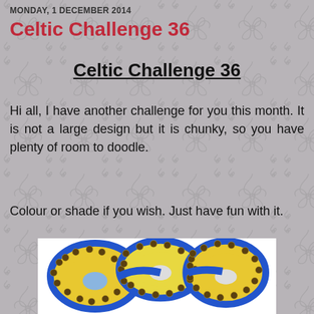MONDAY, 1 DECEMBER 2014
Celtic Challenge 36
Celtic Challenge 36
Hi all, I have another challenge for you this month. It is not a large design but it is chunky, so you have plenty of room to doodle.
Colour or shade if you wish. Just have fun with it.
[Figure (illustration): A coloured celtic knot illustration with blue outlines and yellow/gold fill with circular decorative elements and white/cream inner areas, partially visible at the bottom of the page.]